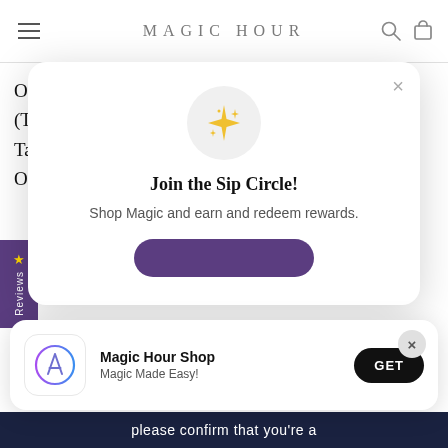MAGIC HOUR
Organic Puerh Black Tea, Brown Tapioca Pearls (Tapioca starch, water, caramel flavoring), White Tapioca Pearls (Tapioca), Coconut Milk Powder, Organic Monk Fruit, Natural Flavors(Naturally
[Figure (screenshot): Join the Sip Circle modal popup with sparkle icon, heading 'Join the Sip Circle!', subtext 'Shop Magic and earn and redeem rewards.' and a purple button]
[Figure (screenshot): App install banner for 'Magic Hour Shop - Magic Made Easy!' with App Store icon and GET button]
please confirm that you're a